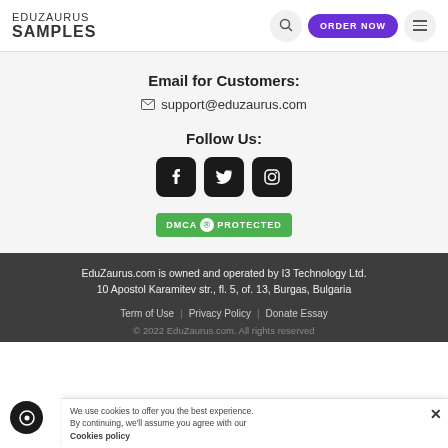EDUZAURUS SAMPLES
Email for Customers:
✉ support@eduzaurus.com
Follow Us:
[Figure (other): Social media icons: Facebook, Twitter, Instagram]
[Figure (other): DMCA Protected badge]
EduZaurus.com is owned and operated by I3 Technology Ltd. 10 Apostol Karamitev str., fl. 5, of. 13, Burgas, Bulgaria
Term of Use | Privacy Policy | Donate Essay
© 2022 EduZaurus.com. All rights reserved
We use cookies to offer you the best experience. By continuing, we'll assume you agree with our Cookies policy